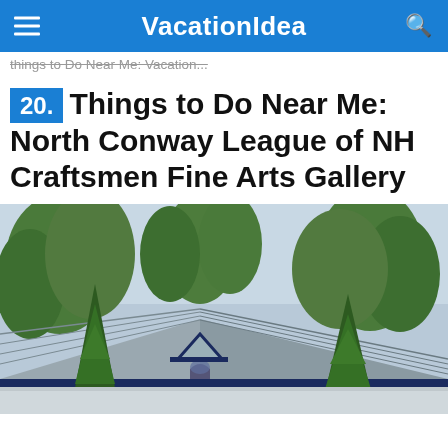VacationIdea
Things to Do Near Me: Vacation...
20. Things to Do Near Me: North Conway League of NH Craftsmen Fine Arts Gallery
[Figure (photo): Exterior photo of the North Conway League of NH Craftsmen Fine Arts Gallery building with a metal roof and large trees in front]